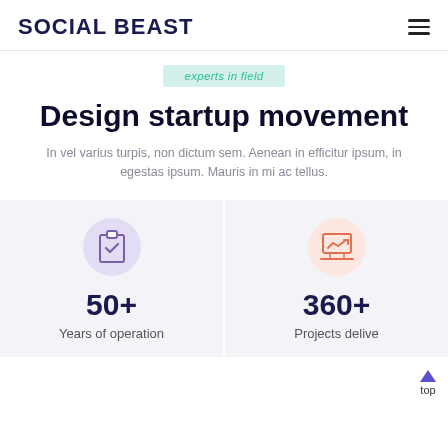SOCIAL BEAST
experts in field
Design startup movement
In vel varius turpis, non dictum sem. Aenean in efficitur ipsum, in egestas ipsum. Mauris in mi ac tellus.
[Figure (infographic): Clipboard with checkmark icon inside a purple circle, stat: 50+ Years of operation]
[Figure (infographic): Laptop with graph icon inside a peach/salmon circle, stat: 360+ Projects delivered]